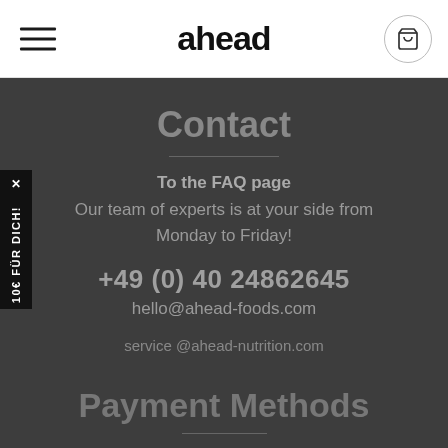ahead
Contact
To the FAQ page
Our team of experts is at your side from Monday to Friday!
+49 (0) 40 24862645
hello@ahead-foods.com
service @ahead-nutrition.com
Payment Methods